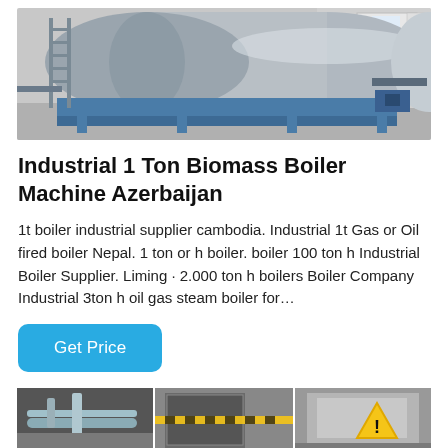[Figure (photo): Industrial biomass boiler machine in a factory setting — large cylindrical silver boiler on blue metal frame with pipes and ladders]
Industrial 1 Ton Biomass Boiler Machine Azerbaijan
1t boiler industrial supplier cambodia. Industrial 1t Gas or Oil fired boiler Nepal. 1 ton or h boiler. boiler 100 ton h Industrial Boiler Supplier. Liming · 2.000 ton h boilers Boiler Company Industrial 3ton h oil gas steam boiler for…
[Figure (photo): Three-panel image at the bottom showing industrial boiler equipment and machinery in a factory, including pipes and a warning sign]